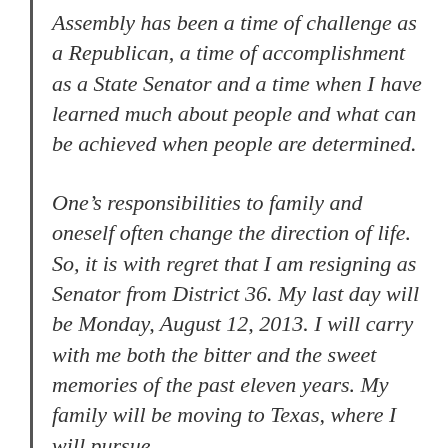Assembly has been a time of challenge as a Republican, a time of accomplishment as a State Senator and a time when I have learned much about people and what can be achieved when people are determined.
One's responsibilities to family and oneself often change the direction of life. So, it is with regret that I am resigning as Senator from District 36. My last day will be Monday, August 12, 2013. I will carry with me both the bitter and the sweet memories of the past eleven years. My family will be moving to Texas, where I will pursue